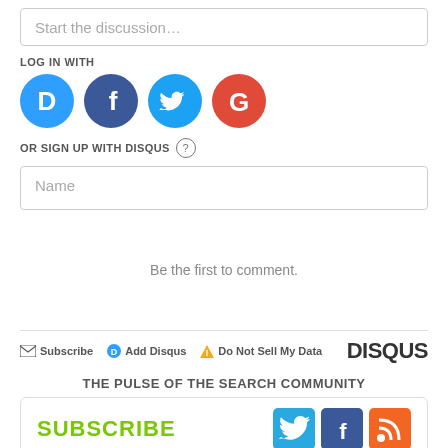Start the discussion…
LOG IN WITH
[Figure (other): Social login icons: Disqus (blue circle with D), Facebook (dark blue circle with f), Twitter (light blue circle with bird), Google (red circle with G)]
OR SIGN UP WITH DISQUS ?
Name
Be the first to comment.
Subscribe  Add Disqus  Do Not Sell My Data   DISQUS
THE PULSE OF THE SEARCH COMMUNITY
SUBSCRIBE